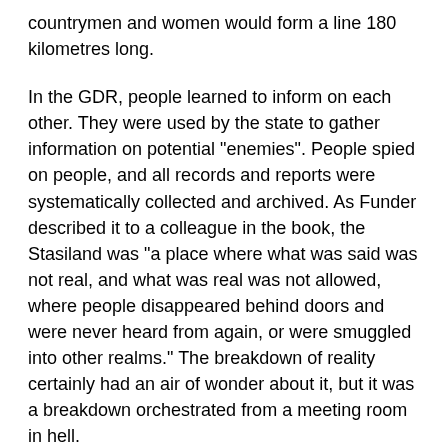countrymen and women would form a line 180 kilometres long.
In the GDR, people learned to inform on each other. They were used by the state to gather information on potential "enemies". People spied on people, and all records and reports were systematically collected and archived. As Funder described it to a colleague in the book, the Stasiland was "a place where what was said was not real, and what was real was not allowed, where people disappeared behind doors and were never heard from again, or were smuggled into other realms." The breakdown of reality certainly had an air of wonder about it, but it was a breakdown orchestrated from a meeting room in hell.
Intimidation and surveillance, those classic strategies of depriving individuals their privacy and peace of mind, were used in good measure. As it turned out, the participants in it – some hardline Stasi and their victims – were still playing the same game even after 1989. Even after the fall of the wall, harassment was norm for people who were critical of